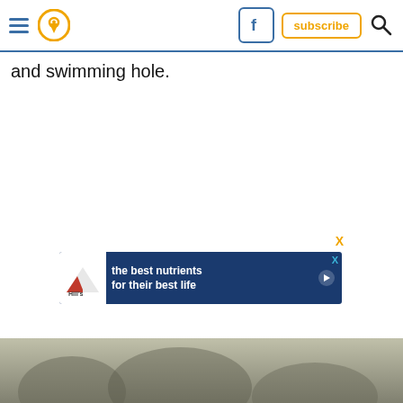[Navigation bar with hamburger menu, location pin icon, Facebook icon, subscribe button, search icon]
and swimming hole.
[Figure (screenshot): Advertisement banner for Hill's pet food: 'the best nutrients for their best life' with Hill's logo and a play button. Has close (X) buttons above and inside the banner.]
[Figure (photo): Partially visible outdoor/nature photo at the bottom of the page, appears to show a wooded or forest scene.]